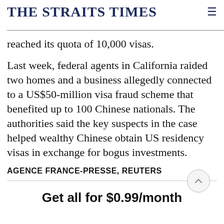THE STRAITS TIMES
reached its quota of 10,000 visas.
Last week, federal agents in California raided two homes and a business allegedly connected to a US$50-million visa fraud scheme that benefited up to 100 Chinese nationals. The authorities said the key suspects in the case helped wealthy Chinese obtain US residency visas in exchange for bogus investments.
AGENCE FRANCE-PRESSE, REUTERS
Get all for $0.99/month